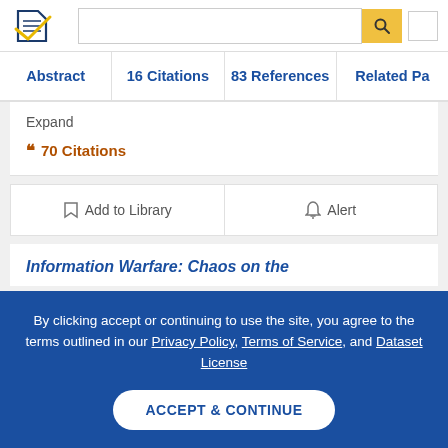[Figure (logo): Semantic Scholar logo with stylized book/papers icon in navy and gold]
Abstract | 16 Citations | 83 References | Related Pa...
Expand
70 Citations
Add to Library   Alert
Information Warfare: Chaos on the...
By clicking accept or continuing to use the site, you agree to the terms outlined in our Privacy Policy, Terms of Service, and Dataset License
ACCEPT & CONTINUE